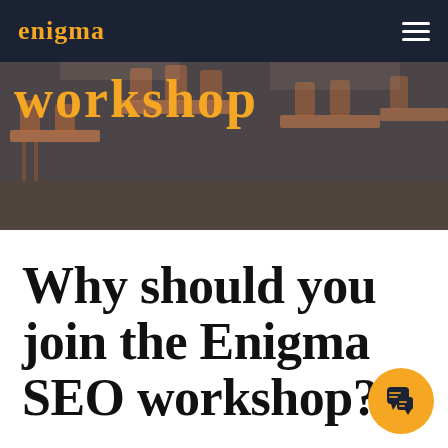enigma
[Figure (photo): Hero banner image showing outdoor café chairs and tables with a dark overlay, with the word 'workshop' in large gold serif text overlaid on top.]
Why should you join the Enigma SEO workshop?